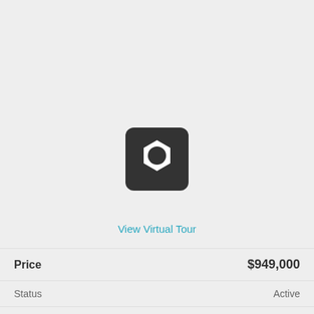[Figure (logo): Dark rounded square icon with a white hexagonal nut/bolt shape in the center]
View Virtual Tour
| Field | Value |
| --- | --- |
| Price | $949,000 |
| Status | Active |
| Beds | 2 |
| Baths | 2 Baths |